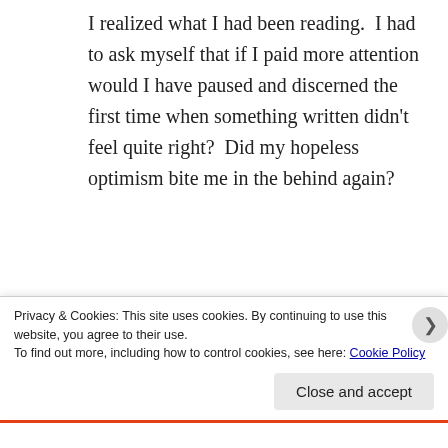I realized what I had been reading.  I had to ask myself that if I paid more attention would I have paused and discerned the first time when something written didn't feel quite right?  Did my hopeless optimism bite me in the behind again?
I wonder though how many times
Privacy & Cookies: This site uses cookies. By continuing to use this website, you agree to their use.
To find out more, including how to control cookies, see here: Cookie Policy